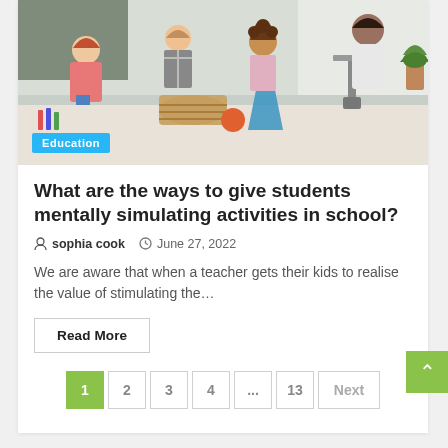[Figure (photo): Children doing science activities in a classroom setting with microscopes and lab equipment on a table. A teacher assists in the background.]
What are the ways to give students mentally simulating activities in school?
sophia cook  June 27, 2022
We are aware that when a teacher gets their kids to realise the value of stimulating the…
Read More
1  2  3  4  ...  13  Next